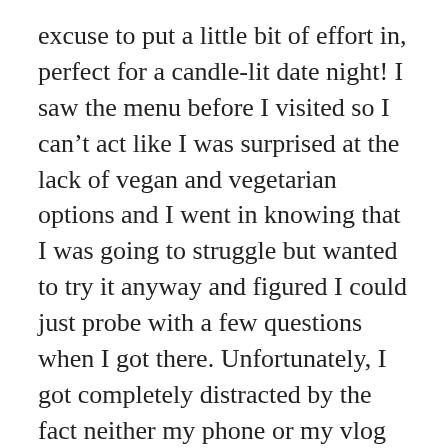excuse to put a little bit of effort in, perfect for a candle-lit date night! I saw the menu before I visited so I can’t act like I was surprised at the lack of vegan and vegetarian options and I went in knowing that I was going to struggle but wanted to try it anyway and figured I could just probe with a few questions when I got there. Unfortunately, I got completely distracted by the fact neither my phone or my vlog camera would work – zig zags flying across the screen – not ideal when you’re there to evidence your experience, so I ended up panic-ordering off the menu without too many questions – thankfully I had my huge DSLR with me (always over-prepared) so I managed to get a few snaps. There are no vegetarian ‘starters’ on offer which is a shame, as it’s so easy to do even if it’s just a soup (the usual culprit!) but to have